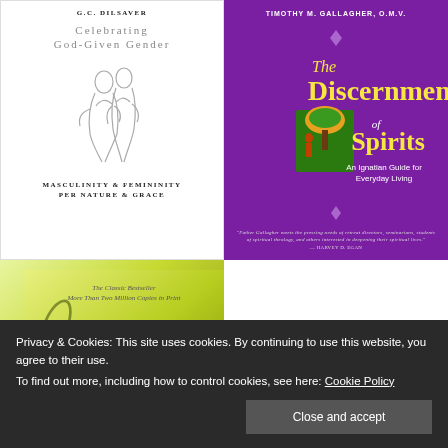[Figure (illustration): Book cover: 'Celebrating God-Given Gender: Masculinity & Femininity Per Nature & Grace' by G.C. Dilsaver. White cover with line drawing of two embracing figures.]
[Figure (illustration): Book cover: 'The Discernment of Spirits: An Ignatian Guide for Everyday Living' by Timothy M. Gallagher, O.M.V. Purple cover with stylized artwork and gold/white lettering.]
[Figure (illustration): Book cover: 'Fascinating...' (partial view), classic bestseller with more than two million copies in print. Yellow-green gradient cover with cursive title.]
Privacy & Cookies: This site uses cookies. By continuing to use this website, you agree to their use.
To find out more, including how to control cookies, see here: Cookie Policy
Close and accept